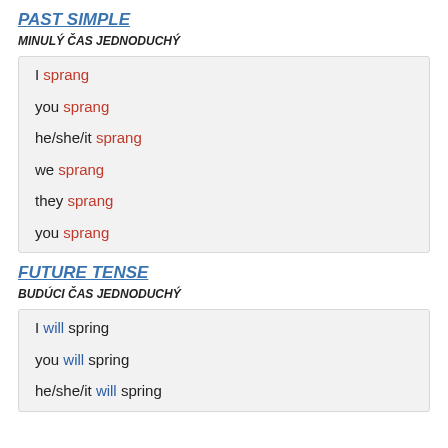PAST SIMPLE
MINULÝ ČAS JEDNODUCHÝ
I sprang
you sprang
he/she/it sprang
we sprang
they sprang
you sprang
FUTURE TENSE
BUDÚCI ČAS JEDNODUCHÝ
I will spring
you will spring
he/she/it will spring